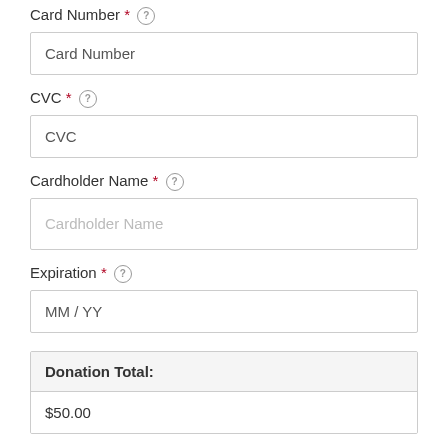Card Number *
Card Number
CVC *
CVC
Cardholder Name *
Cardholder Name
Expiration *
MM / YY
| Donation Total: | $50.00 |
| --- | --- |